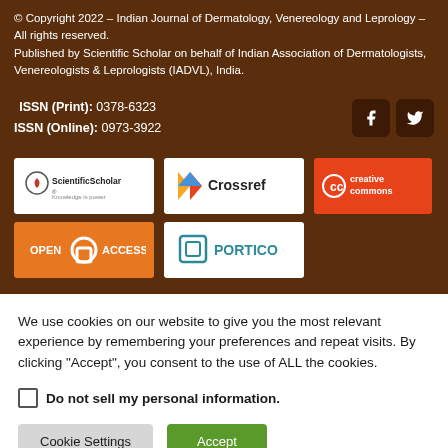© Copyright 2022 – Indian Journal of Dermatology, Venereology and Leprology – All rights reserved.
Published by Scientific Scholar on behalf of Indian Association of Dermatologists, Venereologists & Leprologists (IADVL), India.
ISSN (Print): 0378-6323
ISSN (Online): 0973-3922
[Figure (logo): Scientific Scholar logo – white background with text 'ScientificScholar Knowledge is power']
[Figure (logo): Crossref logo – white background with Crossref branding]
[Figure (logo): Creative Commons logo – orange background with CC branding]
[Figure (logo): Open Access logo – orange background]
[Figure (logo): Portico logo – white background with Portico branding]
We use cookies on our website to give you the most relevant experience by remembering your preferences and repeat visits. By clicking "Accept", you consent to the use of ALL the cookies.
Do not sell my personal information.
Cookie Settings
Accept